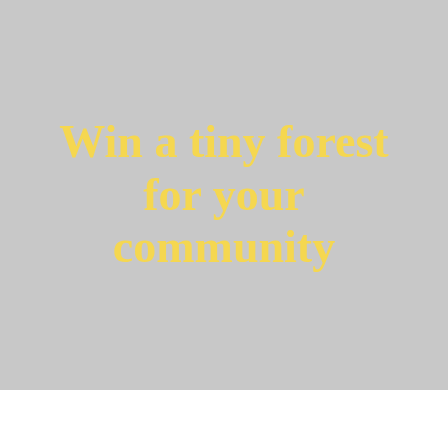Win a tiny forest for your community